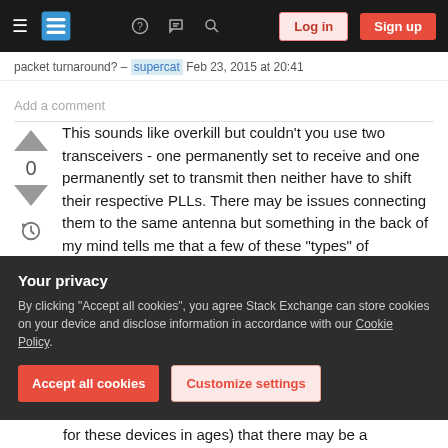Stack Exchange navigation bar with hamburger menu, logo, help, chat, search icons, Log in and Sign up buttons
packet turnaround? – supercat Feb 23, 2015 at 20:41
Add a comment
This sounds like overkill but couldn't you use two transceivers - one permanently set to receive and one permanently set to transmit then neither have to shift their respective PLLs. There may be issues connecting them to the same antenna but something in the back of my mind tells me that a few of these "types" of transceivers have separate
Your privacy
By clicking "Accept all cookies", you agree Stack Exchange can store cookies on your device and disclose information in accordance with our Cookie Policy.
Accept all cookies
Customize settings
for these devices in ages) that there may be a